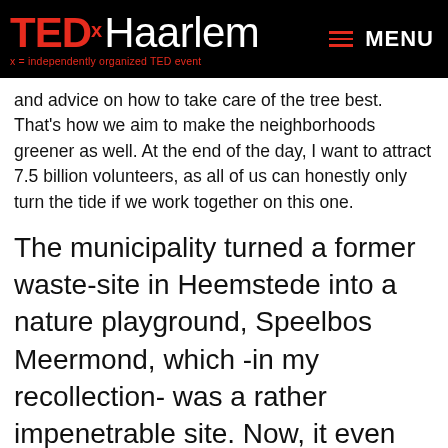TEDx Haarlem | x = independently organized TED event | MENU
and advice on how to take care of the tree best. That's how we aim to make the neighborhoods greener as well. At the end of the day, I want to attract 7.5 billion volunteers, as all of us can honestly only turn the tide if we work together on this one.
The municipality turned a former waste-site in Heemstede into a nature playground, Speelbos Meermond, which -in my recollection- was a rather impenetrable site. Now, it even appeals to the child inside me! What did you do with it, and what do you offer children?